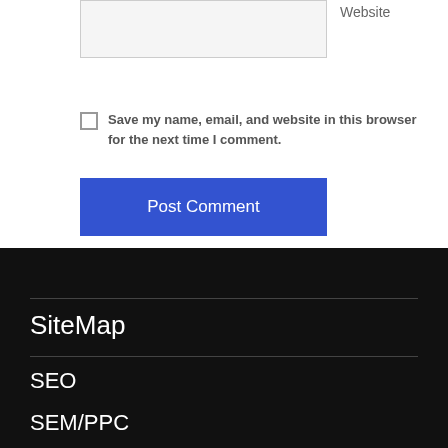Website
Save my name, email, and website in this browser for the next time I comment.
Post Comment
SiteMap
SEO
SEM/PPC